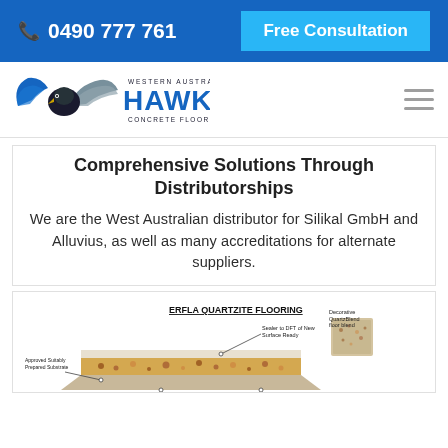0490 777 761 | Free Consultation
[Figure (logo): Western Australia HAWK Concrete Floor Coatings logo with eagle/hawk illustration]
Comprehensive Solutions Through Distributorships
We are the West Australian distributor for Silikal GmbH and Alluvius, as well as many accreditations for alternate suppliers.
[Figure (engineering-diagram): ERFLA Quartzite Flooring cross-section diagram showing layered flooring construction with labels for Decorative QuartzBlend blend, Approved Suitably Prepared Substrate, and Sealer to DFT or New Surface Ready]